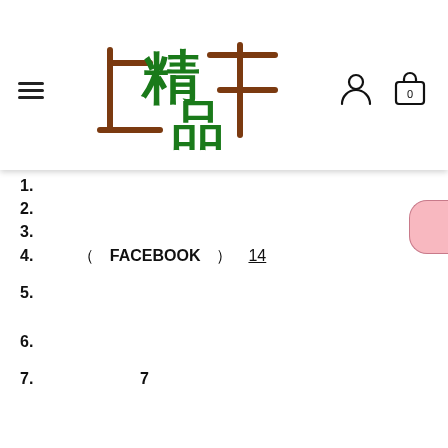精品 logo header with hamburger menu, user icon, and cart icon (0)
1.
2.
3.
4.  （  FACEBOOK  ） 14
5.
6.
7.                      7